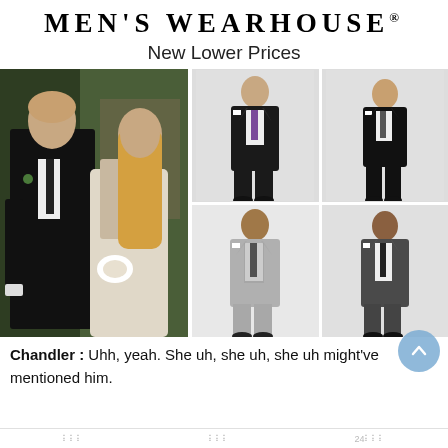MEN'S WEARHOUSE®
New Lower Prices
[Figure (photo): Men's Wearhouse advertisement showing a couple (man in black tuxedo, woman in white wedding dress) on the left, and four suit product photos on the right in a 2x2 grid: top-left dark suit, top-right dark suit (shorter model), bottom-left light grey suit, bottom-right dark grey suit.]
Chandler : Uhh, yeah. She uh, she uh, she uh might've mentioned him.
24